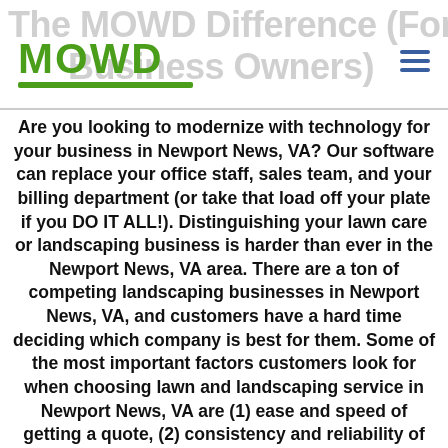The MOWD Difference (For Business Owners)
[Figure (logo): MOWD logo in green bold text with green underline bar]
Are you looking to modernize with technology for your business in Newport News, VA? Our software can replace your office staff, sales team, and your billing department (or take that load off your plate if you DO IT ALL!). Distinguishing your lawn care or landscaping business is harder than ever in the Newport News, VA area. There are a ton of competing landscaping businesses in Newport News, VA, and customers have a hard time deciding which company is best for them. Some of the most important factors customers look for when choosing lawn and landscaping service in Newport News, VA are (1) ease and speed of getting a quote, (2) consistency and reliability of service, and (3) simple invoicing and